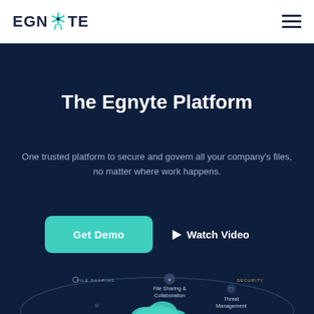[Figure (logo): Egnyte logo with stylized star/compass icon between EGN and TE text]
The Egnyte Platform
One trusted platform to secure and govern all your company's files, no matter where work happens.
[Figure (infographic): Two buttons: 'Get Demo' teal button and 'Watch Video' with play icon]
[Figure (infographic): Egnyte platform diagram showing File Sharing & Collaboration, Content Intelligence & Classification, Lifecycle Management, Threat Management, Security, Ransomware Detection arranged around a central cloud icon with teal platform graphic]